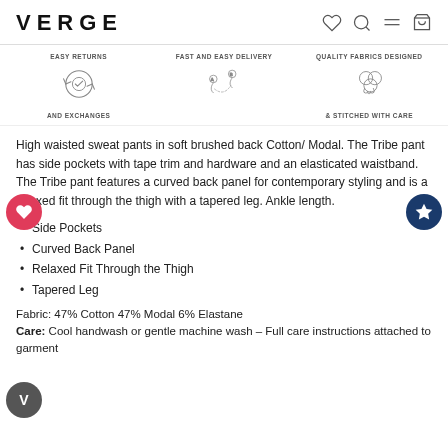VERGE
[Figure (infographic): Three feature icons: Easy Returns and Exchanges (circular arrows with checkmark), Fast and Easy Delivery (map pins A to B with dotted path), Quality Fabrics Designed & Stitched with Care (fabric/flower icon)]
High waisted sweat pants in soft brushed back Cotton/ Modal. The Tribe pant has side pockets with tape trim and hardware and an elasticated waistband. The Tribe pant features a curved back panel for contemporary styling and is a relaxed fit through the thigh with a tapered leg. Ankle length.
Side Pockets
Curved Back Panel
Relaxed Fit Through the Thigh
Tapered Leg
Fabric: 47% Cotton 47% Modal 6% Elastane
Care: Cool handwash or gentle machine wash – Full care instructions attached to garment